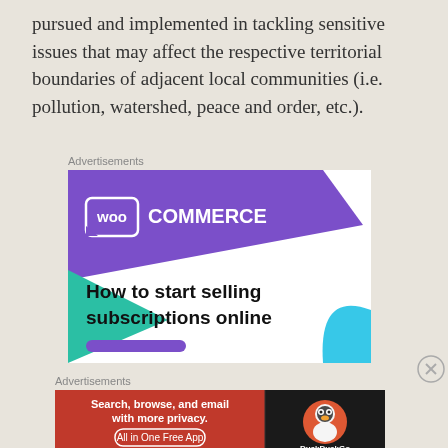pursued and implemented in tackling sensitive issues that may affect the respective territorial boundaries of adjacent local communities (i.e. pollution, watershed, peace and order, etc.).
[Figure (other): WooCommerce advertisement banner showing 'How to start selling subscriptions online' with purple diagonal background and teal/blue accent shapes]
[Figure (other): DuckDuckGo advertisement banner: 'Search, browse, and email with more privacy. All in One Free App' on orange/dark background with DuckDuckGo logo]